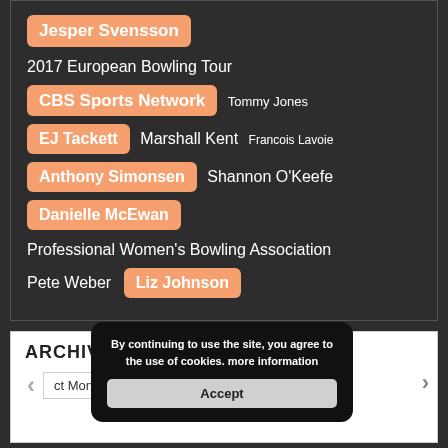Jesper Svensson
2017 European Bowling Tour
CBS Sports Network  Tommy Jones
EJ Tackett  Marshall Kent  Francois Lavoie
Anthony Simonsen  Shannon O'Keefe
Danielle McEwan
Professional Women's Bowling Association
Pete Weber  Liz Johnson
ARCHIVE
By continuing to use the site, you agree to the use of cookies. more information
Accept